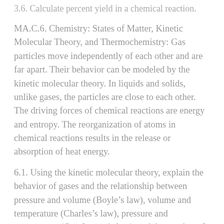3.6. Calculate percent yield in a chemical reaction.
MA.C.6. Chemistry: States of Matter, Kinetic Molecular Theory, and Thermochemistry: Gas particles move independently of each other and are far apart. Their behavior can be modeled by the kinetic molecular theory. In liquids and solids, unlike gases, the particles are close to each other. The driving forces of chemical reactions are energy and entropy. The reorganization of atoms in chemical reactions results in the release or absorption of heat energy.
6.1. Using the kinetic molecular theory, explain the behavior of gases and the relationship between pressure and volume (Boyle’s law), volume and temperature (Charles’s law), pressure and temperature (Gay-Lussac’s law), and the number of particles in a gas sample (Avogadro’s hypothesis). Use the combined gas law to determine changes in pressure, volume, and